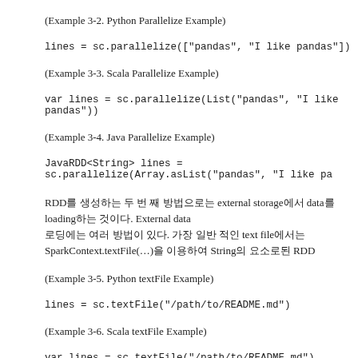(Example 3-2. Python Parallelize Example)
lines = sc.parallelize(["pandas", "I like pandas"])
(Example 3-3. Scala Parallelize Example)
var lines = sc.parallelize(List("pandas", "I like pandas"))
(Example 3-4. Java Parallelize Example)
JavaRDD<String> lines = sc.parallelize(Array.asList("pandas", "I like pa
RDD를 생성하는 두 번 째 방법으로는 external storage에서 data를 loading하는 것이다. External data 로딩에는 여러 방법이 있다. 가장 일반 적인 text file에서는 SparkContext.textFile(…)을 이용하여 String의 요소로된 RDD
(Example 3-5. Python textFile Example)
lines = sc.textFile("/path/to/README.md")
(Example 3-6. Scala textFile Example)
var lines = sc.textFile("/path/to/README.md")
(Example 3-7. Java textFile Example)
JavaRDD<String> lines = sc.textFile("/path/to/README.md");